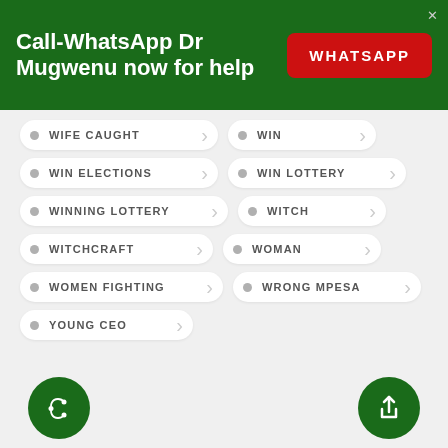Call-WhatsApp Dr Mugwenu now for help
WIFE CAUGHT
WIN
WIN ELECTIONS
WIN LOTTERY
WINNING LOTTERY
WITCH
WITCHCRAFT
WOMAN
WOMEN FIGHTING
WRONG MPESA
YOUNG CEO